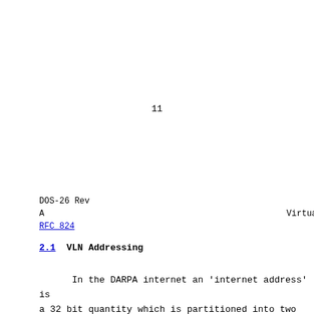11
DOS-26 Rev A                                        Virtual
RFC 824
2.1  VLN Addressing
In the DARPA internet an 'internet address' is a 32 bit quantity which is partitioned into two fiel